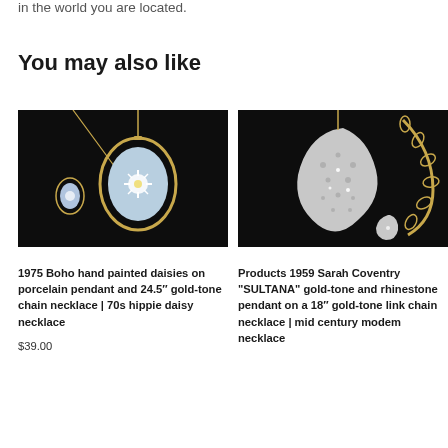in the world you are located.
You may also like
[Figure (photo): Photo of 1975 Boho hand painted daisies on porcelain pendant and 24.5 inch gold-tone chain necklace on dark background]
[Figure (photo): Photo of 1959 Sarah Coventry SULTANA gold-tone and rhinestone pendant on an 18 inch gold-tone link chain necklace on dark background]
1975 Boho hand painted daisies on porcelain pendant and 24.5″ gold-tone chain necklace | 70s hippie daisy necklace
Products 1959 Sarah Coventry "SULTANA" gold-tone and rhinestone pendant on a 18″ gold-tone link chain necklace | mid century modem necklace
$39.00